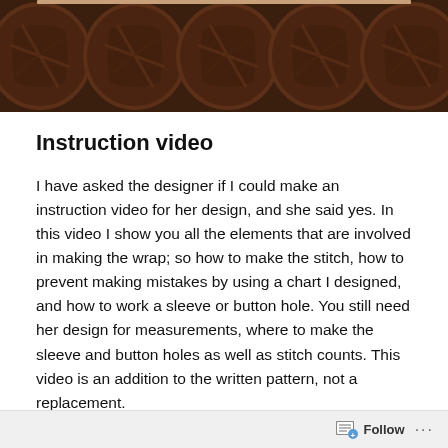[Figure (photo): Row of dark brown yarn balls/skeins lined up closely together, photographed from above at slight angle, showing texture of wool.]
Instruction video
I have asked the designer if I could make an instruction video for her design, and she said yes. In this video I show you all the elements that are involved in making the wrap; so how to make the stitch, how to prevent making mistakes by using a chart I designed, and how to work a sleeve or button hole. You still need her design for measurements, where to make the sleeve and button holes as well as stitch counts. This video is an addition to the written pattern, not a replacement.
Follow ...